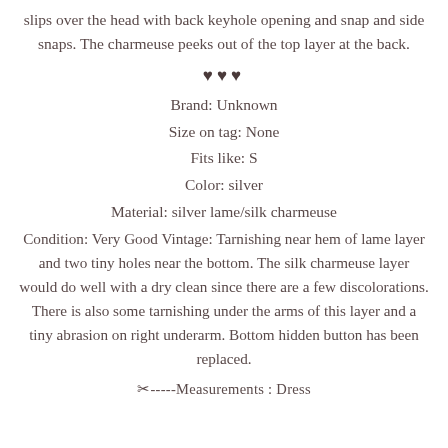slips over the head with back keyhole opening and snap and side snaps. The charmeuse peeks out of the top layer at the back.
♥♥♥
Brand: Unknown
Size on tag: None
Fits like: S
Color: silver
Material: silver lame/silk charmeuse
Condition: Very Good Vintage: Tarnishing near hem of lame layer and two tiny holes near the bottom. The silk charmeuse layer would do well with a dry clean since there are a few discolorations. There is also some tarnishing under the arms of this layer and a tiny abrasion on right underarm. Bottom hidden button has been replaced.
✂-----Measurements : Dress